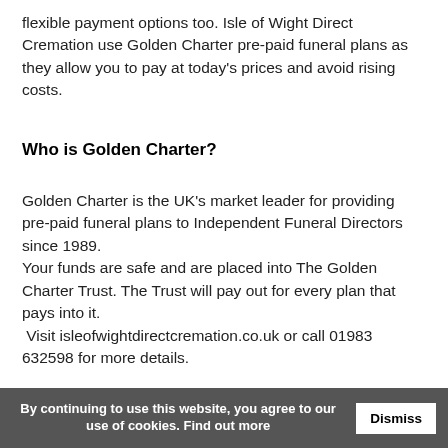flexible payment options too. Isle of Wight Direct Cremation use Golden Charter pre-paid funeral plans as they allow you to pay at today's prices and avoid rising costs.
Who is Golden Charter?
Golden Charter is the UK's market leader for providing pre-paid funeral plans to Independent Funeral Directors since 1989.
Your funds are safe and are placed into The Golden Charter Trust. The Trust will pay out for every plan that pays into it.
Visit isleofwightdirectcremation.co.uk or call 01983 632598 for more details.
By continuing to use this website, you agree to our use of cookies. Find out more  Dismiss